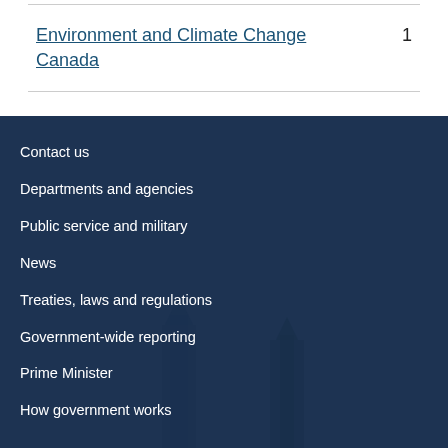| Organization | Count |
| --- | --- |
| Environment and Climate Change Canada | 1 |
Contact us
Departments and agencies
Public service and military
News
Treaties, laws and regulations
Government-wide reporting
Prime Minister
How government works